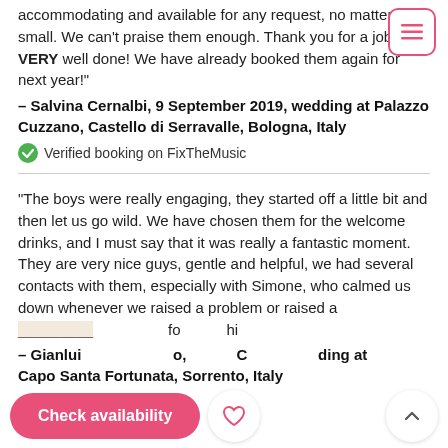accommodating and available for any request, no matter how small. We can't praise them enough. Thank you for a job VERY well done! We have already booked them again for next year!"
– Salvina Cernalbi, 9 September 2019, wedding at Palazzo Cuzzano, Castello di Serravalle, Bologna, Italy
✅ Verified booking on FixTheMusic
"The boys were really engaging, they started off a little bit and then let us go wild. We have chosen them for the welcome drinks, and I must say that it was really a fantastic moment. They are very nice guys, gentle and helpful, we had several contacts with them, especially with Simone, who calmed us down whenever we raised a problem or raised a [question]... fo[r] hi[m]...
– Gianlui... ...o, ...C... ...ding at Capo Santa Fortunata, Sorrento, Italy